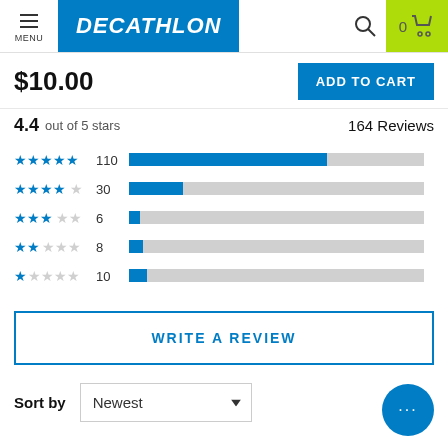MENU | DECATHLON | Search | 0 Cart
$10.00
ADD TO CART
4.4 out of 5 stars   164 Reviews
[Figure (bar-chart): Rating Breakdown]
WRITE A REVIEW
Sort by   Newest